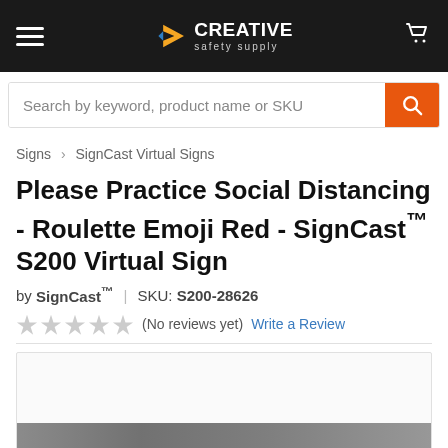Creative Safety Supply — navigation header with hamburger menu, logo, and cart icon
Search by keyword, product name or SKU
Signs > SignCast Virtual Signs
Please Practice Social Distancing - Roulette Emoji Red - SignCast™ S200 Virtual Sign
by SignCast™  |  SKU: S200-28626
★★★★★ (No reviews yet) Write a Review
[Figure (photo): Product image area, mostly blank white with a dark strip at the bottom showing a partial product photo]